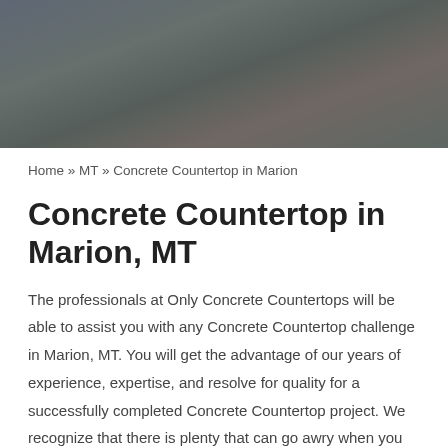[Figure (photo): Blurred outdoor background image with dark/muted tones of grey, green, and brown serving as a hero banner.]
Home » MT » Concrete Countertop in Marion
Concrete Countertop in Marion, MT
The professionals at Only Concrete Countertops will be able to assist you with any Concrete Countertop challenge in Marion, MT. You will get the advantage of our years of experience, expertise, and resolve for quality for a successfully completed Concrete Countertop project. We recognize that there is plenty that can go awry when you deal with a business that doesn't recognize the ins and outs of your specific task, so we take the time to learn about your goals and